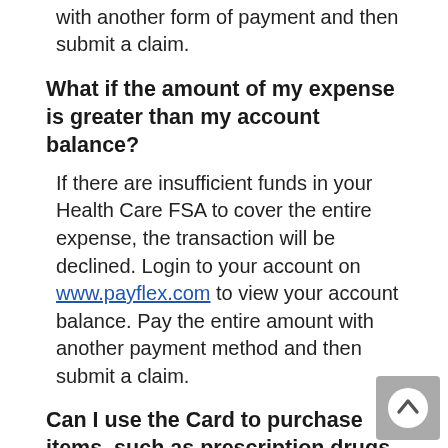with another form of payment and then submit a claim.
What if the amount of my expense is greater than my account balance?
If there are insufficient funds in your Health Care FSA to cover the entire expense, the transaction will be declined. Login to your account on www.payflex.com to view your account balance. Pay the entire amount with another payment method and then submit a claim.
Can I use the Card to purchase items, such as prescription drugs and contact